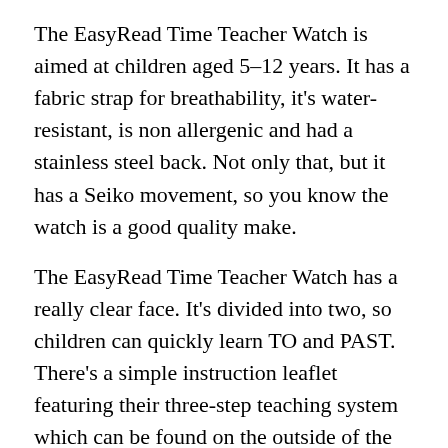The EasyRead Time Teacher Watch is aimed at children aged 5–12 years. It has a fabric strap for breathability, it's water-resistant, is non allergenic and had a stainless steel back. Not only that, but it has a Seiko movement, so you know the watch is a good quality make.
The EasyRead Time Teacher Watch has a really clear face. It's divided into two, so children can quickly learn TO and PAST. There's a simple instruction leaflet featuring their three-step teaching system which can be found on the outside of the watch box and in the leaflet inside. It's really simple and should be easy enough for most children to pick up and follow.
The three-step teaching system:
1.  Read the number at the end of the long hand